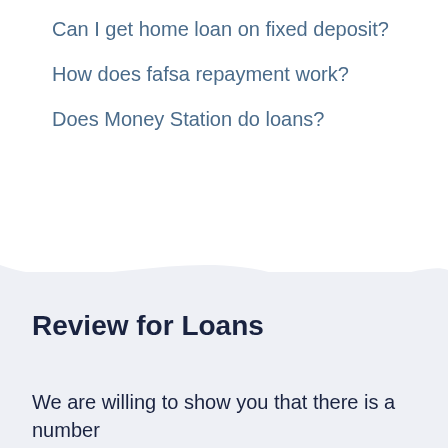Can I get home loan on fixed deposit?
How does fafsa repayment work?
Does Money Station do loans?
Review for Loans
We are willing to show you that there is a number